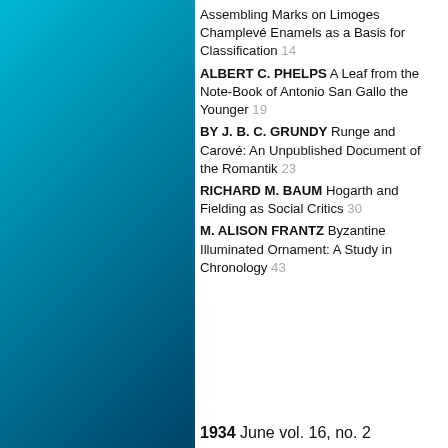Assembling Marks on Limoges Champlevé Enamels as a Basis for Classification 14
ALBERT C. PHELPS A Leaf from the Note-Book of Antonio San Gallo the Younger 19
BY J. B. C. GRUNDY Runge and Carové: An Unpublished Document of the Romantik 23
RICHARD M. BAUM Hogarth and Fielding as Social Critics 30
M. ALISON FRANTZ Byzantine Illuminated Ornament: A Study in Chronology 43
1934 June vol. 16, no. 2